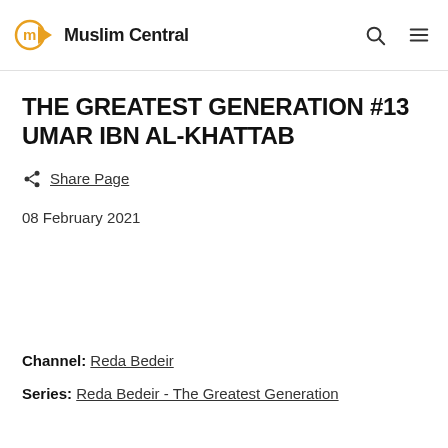Muslim Central
THE GREATEST GENERATION #13 UMAR IBN AL-KHATTAB
Share Page
08 February 2021
Channel: Reda Bedeir
Series: Reda Bedeir - The Greatest Generation